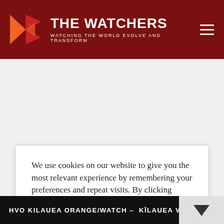THE WATCHERS — WATCHING THE WORLD EVOLVE AND TRANSFORM
We use cookies on our website to give you the most relevant experience by remembering your preferences and repeat visits. By clicking “Accept”, you consent to the use of ALL the cookies. Do not sell my personal information.
Cookie settings | Accept
HVO KILAUEA ORANGE/WATCH - KILAUEA VOLCAN…